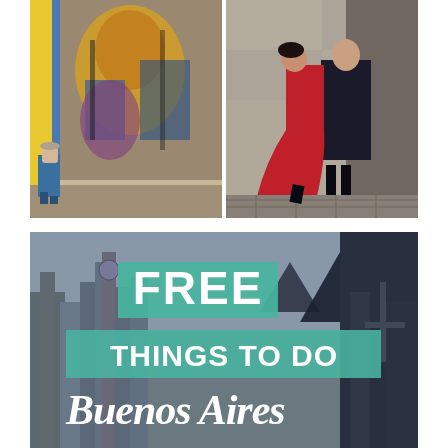[Figure (photo): Two side-by-side travel photos. Left: a man walking past a large colorful graffiti mural on a yellow-accented street wall. Right: a couple dancing tango, woman in a red dress, on a cobblestone street.]
[Figure (infographic): City skyline photo in desaturated blue-grey tones with teal/mint overlay text boxes reading 'FREE' in large bold white letters, 'THINGS TO DO' below in white on teal, and 'Buenos Aires' in italic white script at the bottom.]